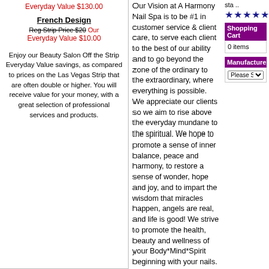Everyday Value $130.00
French Design
Reg Strip Price $20 Our Everyday Value $10.00
Enjoy our Beauty Salon Off the Strip Everyday Value savings, as compared to prices on the Las Vegas Strip that are often double or higher. You will receive value for your money, with a great selection of professional services and products.
Our Vision at A Harmony Nail Spa is to be #1 in customer service & client care, to serve each client to the best of our ability and to go beyond the zone of the ordinary to the extraordinary, where everything is possible. We appreciate our clients so we aim to rise above the everyday mundane to the spiritual. We hope to promote a sense of inner balance, peace and harmony, to restore a sense of wonder, hope and joy, and to impart the wisdom that miracles happen, angels are real, and life is good! We strive to promote the health, beauty and wellness of your Body*Mind*Spirit beginning with your nails. We Specialize in
sta ..
★★★★★
Shopping Cart
0 items
Manufacturers
Please Select